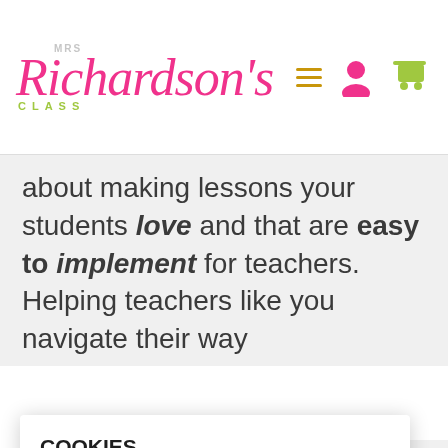MRS Richardson's CLASS
about making lessons your students love and that are easy to implement for teachers. Helping teachers like you navigate their way
ings me er who t . Here, to move
COOKIES
We use cookies on our website to give you the most relevant experience by remembering your preferences and repeat visits. By clicking “Accept”, you consent to the use of ALL the cookies.
Do not sell my personal information.
Cookie Settings
Accept